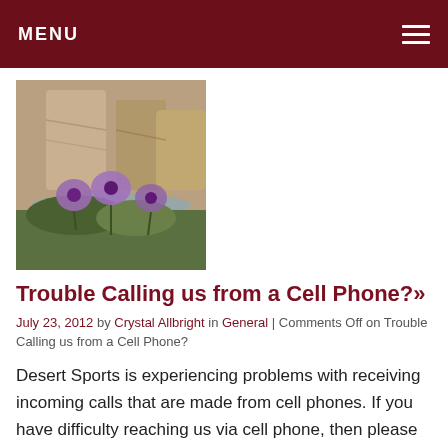MENU
[Figure (photo): Purple morning glory flowers in front of rocky canyon cliff face near a river]
Trouble Calling us from a Cell Phone?»
July 23, 2012 by Crystal Allbright in General | Comments Off on Trouble Calling us from a Cell Phone?
Desert Sports is experiencing problems with receiving incoming calls that are made from cell phones. If you have difficulty reaching us via cell phone, then please try a landline or…